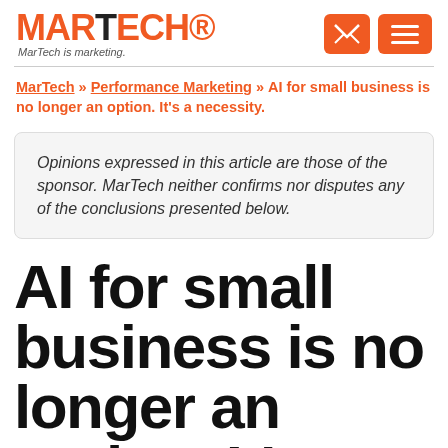MARTECH — MarTech is marketing.
MarTech » Performance Marketing » AI for small business is no longer an option. It's a necessity.
Opinions expressed in this article are those of the sponsor. MarTech neither confirms nor disputes any of the conclusions presented below.
AI for small business is no longer an option. It's a necessity.